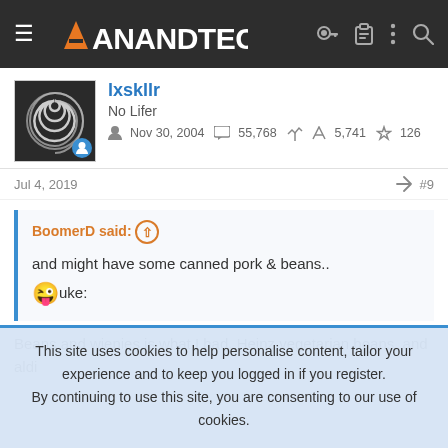AnandTech
lxskllr
No Lifer
Nov 30, 2004  55,768  5,741  126
Jul 4, 2019  #9
BoomerD said: ↑
and might have some canned pork & beans..
😜uke:
Beans and wienies is what I had. Heinz vegetarian beans, and aldi
This site uses cookies to help personalise content, tailor your experience and to keep you logged in if you register.
By continuing to use this site, you are consenting to our use of cookies.